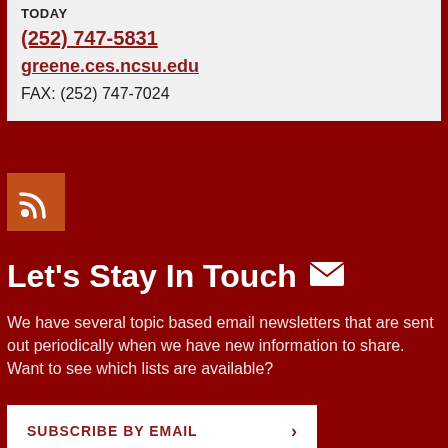TODAY
(252) 747-5831
greene.ces.ncsu.edu
FAX: (252) 747-7024
[Figure (illustration): RSS feed icon button in orange square]
Let's Stay In Touch
We have several topic based email newsletters that are sent out periodically when we have new information to share. Want to see which lists are available?
SUBSCRIBE BY EMAIL >